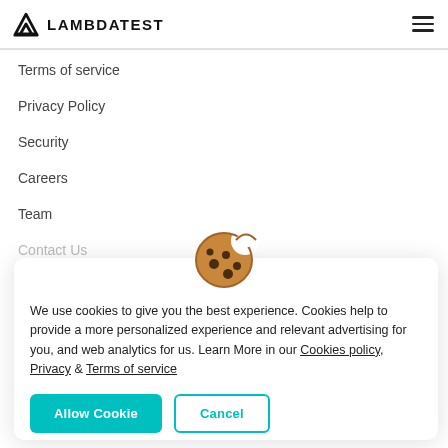LAMBDATEST
Terms of service
Privacy Policy
Security
Careers
Team
Contact Us
[Figure (illustration): Cookie emoji icon — round tan cookie with chocolate chip spots and a bite taken out]
We use cookies to give you the best experience. Cookies help to provide a more personalized experience and relevant advertising for you, and web analytics for us. Learn More in our Cookies policy, Privacy & Terms of service
Allow Cookie | Cancel